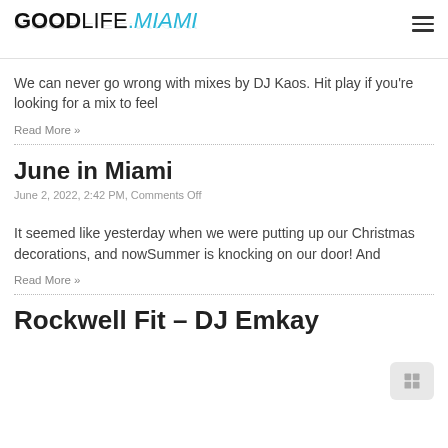GOODLIFE.MIAMI
We can never go wrong with mixes by DJ Kaos. Hit play if you're looking for a mix to feel
Read More »
June in Miami
June 2, 2022, 2:42 PM, Comments Off
It seemed like yesterday when we were putting up our Christmas decorations, and nowSummer is knocking on our door! And
Read More »
Rockwell Fit – DJ Emkay